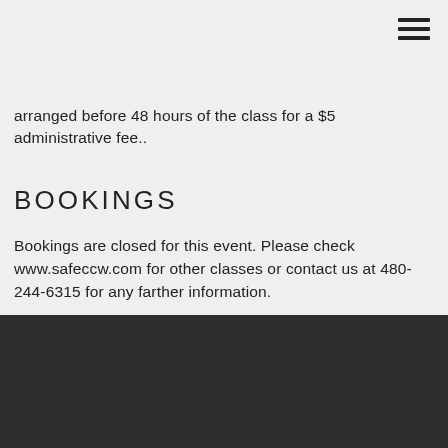arranged before 48 hours of the class for a $5 administrative fee..
BOOKINGS
Bookings are closed for this event. Please check www.safeccw.com for other classes or contact us at 480-244-6315 for any farther information.